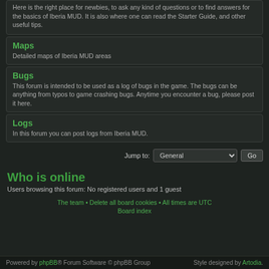Here is the right place for newbies, to ask any kind of questions or to find answers for the basics of Iberia MUD. It is also where one can read the Starter Guide, and other useful tips.
Maps
Detailed maps of Iberia MUD areas
Bugs
This forum is intended to be used as a log of bugs in the game. The bugs can be anything from typos to game crashing bugs. Anytime you encounter a bug, please post it here.
Logs
In this forum you can post logs from Iberia MUD.
Jump to: General Go
Who is online
Users browsing this forum: No registered users and 1 guest
The team • Delete all board cookies • All times are UTC Board index
Powered by phpBB® Forum Software © phpBB Group   Style designed by Artodia.